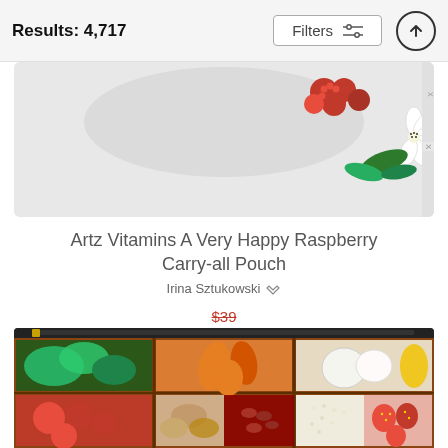Results: 4,717
[Figure (photo): Top portion of a carry-all pouch featuring a botanical illustration with raspberries and a white flower on a light background]
Artz Vitamins A Very Happy Raspberry Carry-all Pouch
Irina Sztukowski
$39 (crossed out) $31
[Figure (photo): Bottom portion showing a carry-all pouch with a colorful photograph of vegetables and ingredients in wooden compartments including greens, carrots, onions, garlic, peppers, tomatoes, mushrooms, red beans, rice, and strawberries]